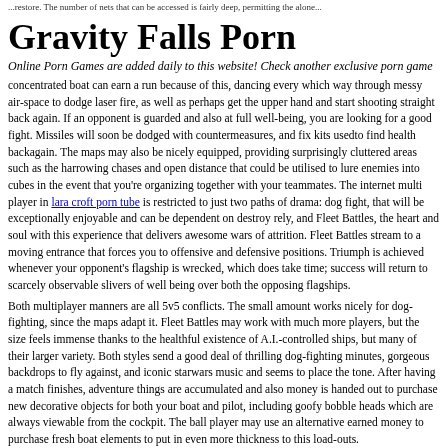...restore. The number of nets that can be accessed is fairly deep, permitting the alone...
Gravity Falls Porn
Online Porn Games are added daily to this website! Check another exclusive porn game
concentrated boat can earn a run because of this, dancing every which way through messy air-space to dodge laser fire, as well as perhaps get the upper hand and start shooting straight back again. If an opponent is guarded and also at full well-being, you are looking for a good fight. Missiles will soon be dodged with countermeasures, and fix kits usedto find health backagain. The maps may also be nicely equipped, providing surprisingly cluttered areas such as the harrowing chases and open distance that could be utilised to lure enemies into cubes in the event that you're organizing together with your teammates. The internet multi player in lara croft porn tube is restricted to just two paths of drama: dog fight, that will be exceptionally enjoyable and can be dependent on destroy rely, and Fleet Battles, the heart and soul with this experience that delivers awesome wars of attrition. Fleet Battles stream to a moving entrance that forces you to offensive and defensive positions. Triumph is achieved whenever your opponent's flagship is wrecked, which does take time; success will return to scarcely observable slivers of well being over both the opposing flagships.
Both multiplayer manners are all 5v5 conflicts. The small amount works nicely for dog-fighting, since the maps adapt it. Fleet Battles may work with much more players, but the size feels immense thanks to the healthful existence of A.I.-controlled ships, but many of their larger variety. Both styles send a good deal of thrilling dog-fighting minutes, gorgeous backdrops to fly against, and iconic starwars music and seems to place the tone. After having a match finishes, adventure things are accumulated and also money is handed out to purchase new decorative objects for both your boat and pilot, including goofy bobble heads which are always viewable from the cockpit. The ball player may use an alternative earned money to purchase fresh boat elements to put in even more thickness to this load-outs.
I like EA's position of never having microtransactions or even DLC, but the good thing about unlockable cosmetics is surprisingly shallow, and is based way too heavily on